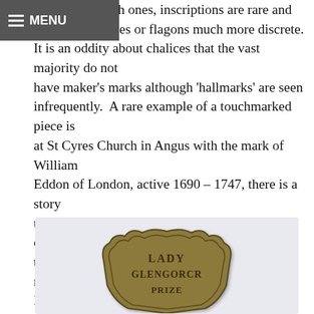≡ MENU
than the Scottish ones, inscriptions are rare and present on chalices or flagons much more discrete. It is an oddity about chalices that the vast majority do not have maker's marks although 'hallmarks' are seen infrequently. A rare example of a touchmarked piece is at St Cyres Church in Angus with the mark of William Eddon of London, active 1690 – 1747, there is a story there of its migration! A beautiful 'hallmarked' one is in the treasury at Chichester Cathedral with the marks of Robert Isles of London, working 1691 – 1735 but with a dramatic armorial added c1850. Irish chalices commonly have a thick stem and straight sided bowls.
[Figure (photo): A bronze or brass shield-shaped badge with the text 'LADY GLENGORCR PRIZE' embossed on it, photographed against a light blue-grey background.]